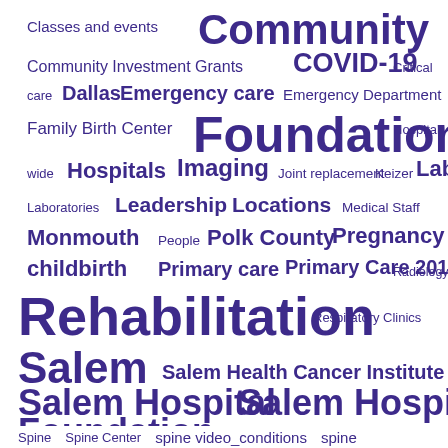[Figure (infographic): Word cloud of medical and healthcare terms related to Salem Hospital and its services, displayed in varying font sizes indicating frequency/importance. Terms include: Community, Foundation, Rehabilitation, Salem Hospital Foundation, COVID-19, Primary Care 2018, Pregnancy and childbirth, Salem, and many others. All text is in purple/dark indigo color on white background.]